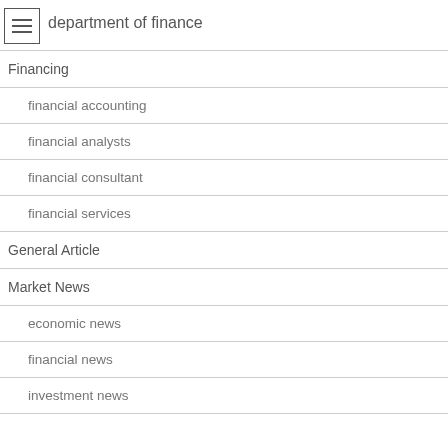department of finance
Financing
financial accounting
financial analysts
financial consultant
financial services
General Article
Market News
economic news
financial news
investment news